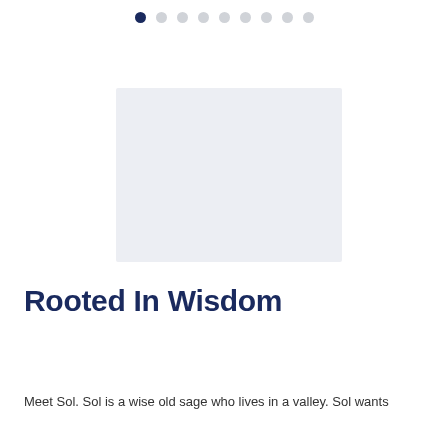● ○ ○ ○ ○ ○ ○ ○ ○
[Figure (illustration): A light lavender-grey rectangular placeholder image area]
Rooted In Wisdom
Meet Sol. Sol is a wise old sage who lives in a valley. Sol wants